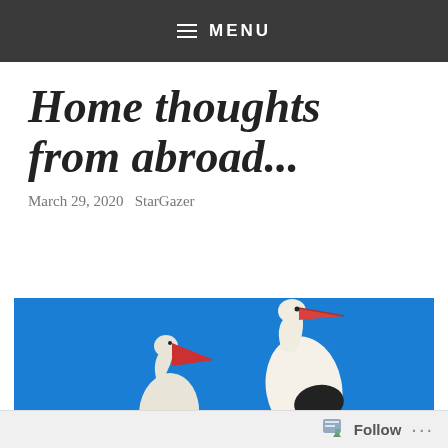MENU
Home thoughts from abroad...
March 29, 2020   StarGazer
[Figure (photo): Two white storks with red beaks and black wing markings standing against a bright blue sky background. The stork on the right is larger and more prominent, with a red and black beak pointing left. A smaller stork is partially visible on the lower left.]